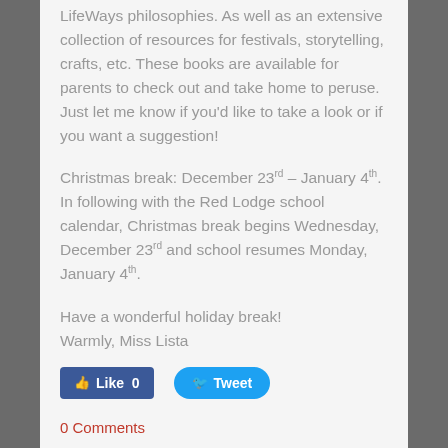LifeWays philosophies. As well as an extensive collection of resources for festivals, storytelling, crafts, etc. These books are available for parents to check out and take home to peruse. Just let me know if you'd like to take a look or if you want a suggestion!
Christmas break: December 23 rd – January 4 th. In following with the Red Lodge school calendar, Christmas break begins Wednesday, December 23 rd and school resumes Monday, January 4 th.
Have a wonderful holiday break!
Warmly, Miss Lista
[Figure (other): Social media buttons: Facebook Like (0) and Twitter Tweet]
0 Comments
Parent Newsletter September 29, 2015
9/29/2015    0 Comments